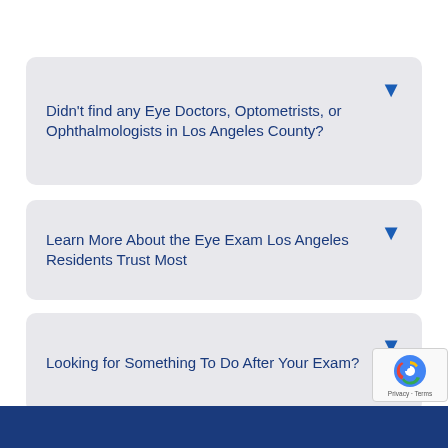Didn't find any Eye Doctors, Optometrists, or Ophthalmologists in Los Angeles County?
Learn More About the Eye Exam Los Angeles Residents Trust Most
Looking for Something To Do After Your Exam?
[Figure (other): Row of social media share icons: Facebook (blue circle with f), Twitter (light blue circle with bird), LinkedIn (teal circle with in), Instagram (gradient circle with camera), Gmail (light circle with M), Share (orange circle with share symbol)]
[Figure (other): reCAPTCHA badge with spinning arrow logo and Privacy - Terms text]